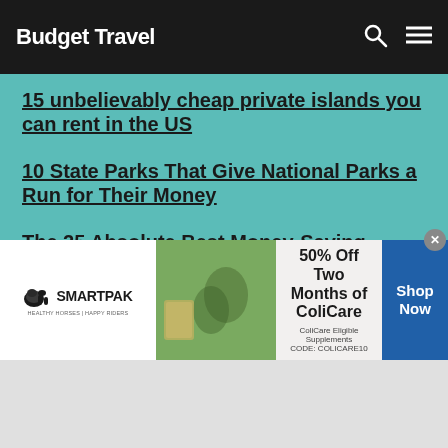Budget Travel
15 unbelievably cheap private islands you can rent in the US
10 State Parks That Give National Parks a Run for Their Money
The 25 Absolute Best Money-Saving Travel Tips Ever
The Yellowstone Loop: 9 Stops You Must Make
10 of the most scenic drives in the USA
7 Great Destinations for An Affordable Weekend Getaway
[Figure (screenshot): SmartPak advertisement banner: 50% Off Two Months of ColiCare, ColiCare Eligible Supplements, CODE: COLICARE10, Shop Now button]